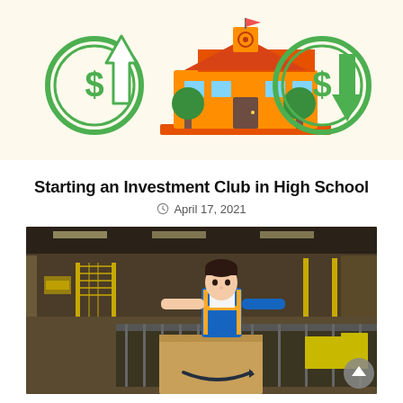[Figure (illustration): Decorative illustration on cream/beige background showing: a green coin with dollar sign and upward arrow on the left, a colorful school building in the center, and a green coin with dollar sign and downward arrow on the right — representing investment gains and losses in a school context.]
Starting an Investment Club in High School
April 17, 2021
[Figure (photo): Photograph of a warehouse worker (Amazon fulfillment center) — a woman wearing a blue and yellow safety vest, standing at a conveyor belt handling a large cardboard Amazon-branded shipping box. The facility has industrial metal shelving and conveyor systems visible in the background.]